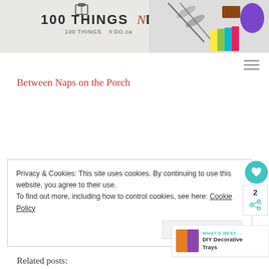[Figure (logo): 100 Things N Do website header banner with logo on left and craft supply photo on right]
Between Naps on the Porch
Privacy & Cookies: This site uses cookies. By continuing to use this website, you agree to their use. To find out more, including how to control cookies, see here: Cookie Policy
Close and accept
WHAT'S NEXT → DIY Decorative Trays
Related posts: